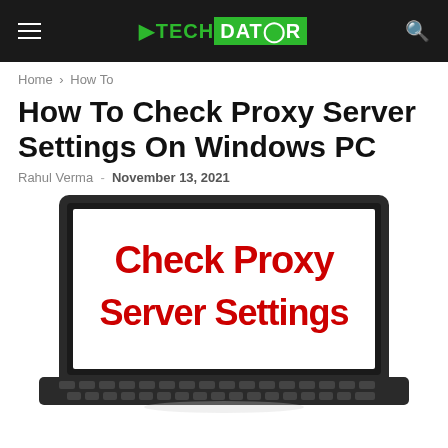TechDator — TECH DATOR
Home › How To
How To Check Proxy Server Settings On Windows PC
Rahul Verma - November 13, 2021
[Figure (illustration): Illustration of a laptop with screen showing text 'Check Proxy Server Settings' in bold red letters, with a keyboard below, on a white background]